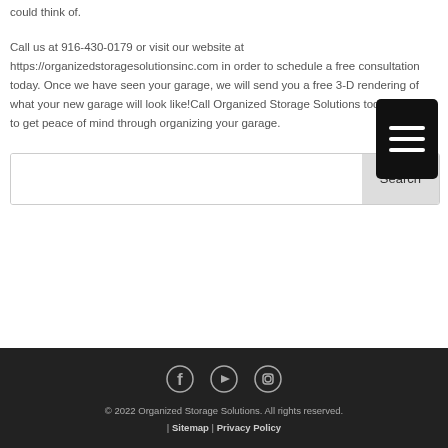could think of.
Call us at 916-430-0179 or visit our website at https://organizedstoragesolutionsinc.com in order to schedule a free consultation today. Once we have seen your garage, we will send you a free 3-D rendering of what your new garage will look like!Call Organized Storage Solutions today in order to get peace of mind through organizing your garage.
© 2022 Organized Storage Solutions. All rights reserved. | Sitemap | Privacy Policy